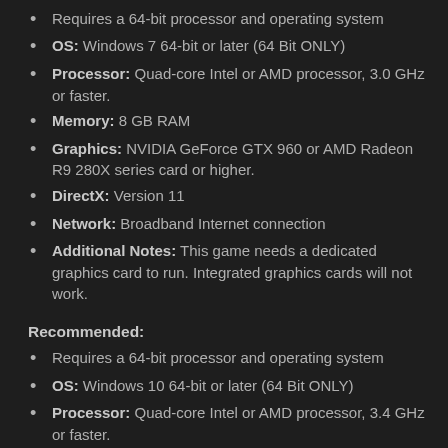Requires a 64-bit processor and operating system
OS: Windows 7 64-bit or later (64 Bit ONLY)
Processor: Quad-core Intel or AMD processor, 3.0 GHz or faster.
Memory: 8 GB RAM
Graphics: NVIDIA GeForce GTX 960 or AMD Radeon R9 280X series card or higher.
DirectX: Version 11
Network: Broadband Internet connection
Additional Notes: This game needs a dedicated graphics card to run. Integrated graphics cards will not work.
Recommended:
Requires a 64-bit processor and operating system
OS: Windows 10 64-bit or later (64 Bit ONLY)
Processor: Quad-core Intel or AMD processor, 3.4 GHz or faster.
Memory: 16 GB RAM